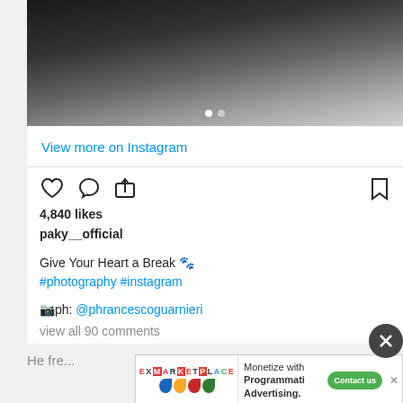[Figure (photo): Black and white fashion/portrait photo, partially visible at top]
View more on Instagram
4,840 likes
paky__official
Give Your Heart a Break 🐾 #photography #instagram
📷ph: @phrancescoguarnieri
view all 90 comments
Add a comment...
He fre...
[Figure (screenshot): ExMarketplace advertisement banner: Monetize with Programmatic Advertising. Contact us button.]